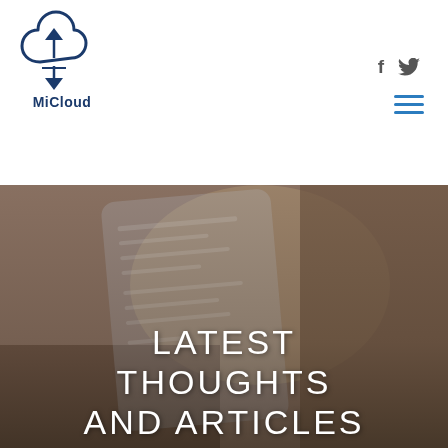[Figure (logo): MiCloud logo: a cloud icon with upload and download arrows in dark blue, with 'MiCloud' text below]
[Figure (other): Social media icons: Facebook 'f' and Twitter bird icon in gray, plus a blue hamburger menu icon (three horizontal lines)]
[Figure (photo): Hero image showing hands holding a smartphone, with a darkened overlay. Text overlay reads 'LATEST THOUGHTS AND ARTICLES' in white uppercase thin lettering.]
LATEST THOUGHTS AND ARTICLES